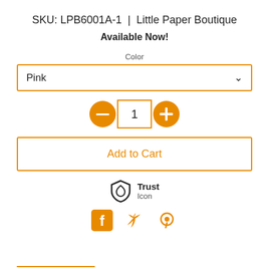SKU: LPB6001A-1 | Little Paper Boutique
Available Now!
Color
Pink
[Figure (other): Quantity selector with minus button, number 1 in bordered box, plus button]
Add to Cart
[Figure (other): Trust shield icon with text Trust Icon]
[Figure (other): Social share icons: Facebook, Twitter, Pinterest]